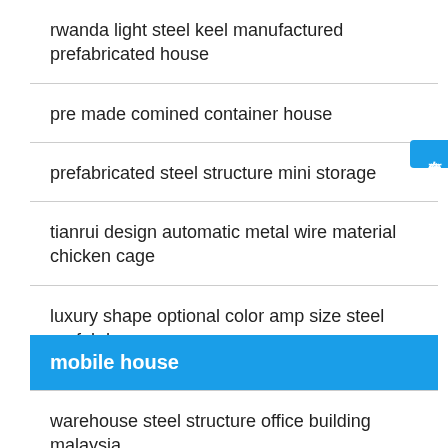rwanda light steel keel manufactured prefabricated house
pre made comined container house
prefabricated steel structure mini storage
tianrui design automatic metal wire material chicken cage
luxury shape optional color amp size steel prefab hou
mobile house
warehouse steel structure office building malaysia